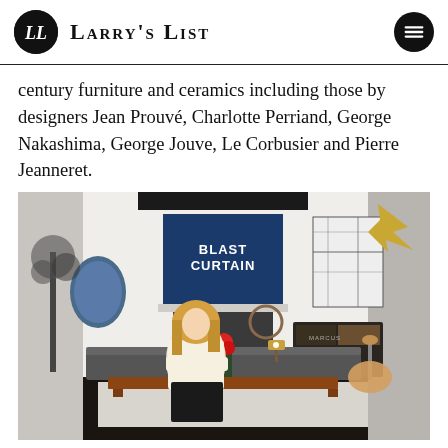Larry's List
century furniture and ceramics including those by designers Jean Prouvé, Charlotte Perriand, George Nakashima, George Jouve, Le Corbusier and Pierre Jeanneret.
[Figure (photo): Interior room photo showing a woman with blonde hair seated with arms crossed in a stylish living space. Behind her is a blue artwork reading 'BLAST CURTAIN', a gold sculptural bird on the upper right wall, dark sofas, a wooden coffee table, red flowers in a vase, and various artworks on white brick walls.]